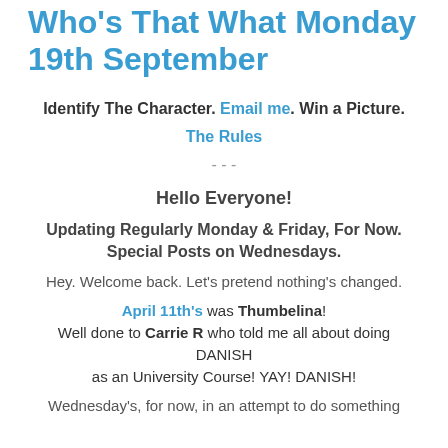Who's That What Monday 19th September
Identify The Character. Email me. Win a Picture.
The Rules
- - -
Hello Everyone!
Updating Regularly Monday & Friday, For Now. Special Posts on Wednesdays.
Hey. Welcome back. Let's pretend nothing's changed.
April 11th's was Thumbelina! Well done to Carrie R who told me all about doing DANISH as an University Course! YAY! DANISH!
Wednesday's, for now, in an attempt to do something